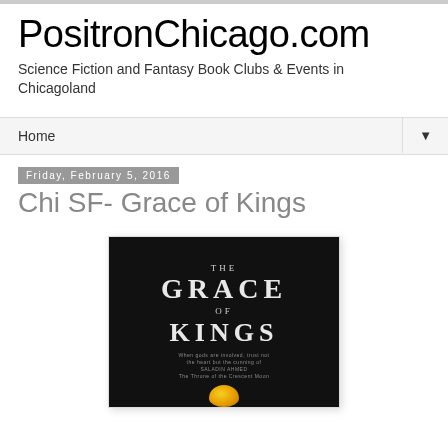PositronChicago.com
Science Fiction and Fantasy Book Clubs & Events in Chicagoland
Home
Friday, February 5, 2016
Chi SF- Grace of Kings
[Figure (photo): Book cover of 'The Grace of Kings' with black background, white text showing THE GRACE OF KINGS, small tagline text, and a golden egg-like object at the bottom]